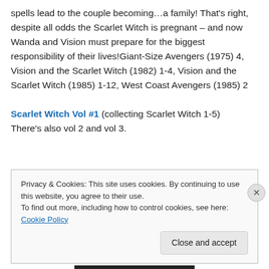spells lead to the couple becoming…a family! That's right, despite all odds the Scarlet Witch is pregnant – and now Wanda and Vision must prepare for the biggest responsibility of their lives!Giant-Size Avengers (1975) 4, Vision and the Scarlet Witch (1982) 1-4, Vision and the Scarlet Witch (1985) 1-12, West Coast Avengers (1985) 2
Scarlet Witch Vol #1 (collecting Scarlet Witch 1-5) There's also vol 2 and vol 3.
Privacy & Cookies: This site uses cookies. By continuing to use this website, you agree to their use.
To find out more, including how to control cookies, see here: Cookie Policy
Close and accept